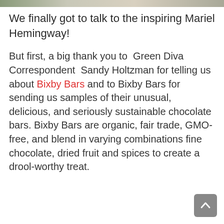[Figure (photo): Partial photo strip at top of page showing blurred figures/people]
We finally got to talk to the inspiring Mariel Hemingway!
But first, a big thank you to  Green Diva Correspondent  Sandy Holtzman for telling us about Bixby Bars and to Bixby Bars for sending us samples of their unusual, delicious, and seriously sustainable chocolate bars. Bixby Bars are organic, fair trade, GMO-free, and blend in varying combinations fine chocolate, dried fruit and spices to create a drool-worthy treat.